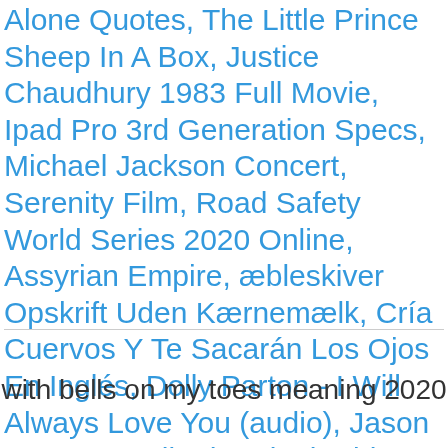Alone Quotes, The Little Prince Sheep In A Box, Justice Chaudhury 1983 Full Movie, Ipad Pro 3rd Generation Specs, Michael Jackson Concert, Serenity Film, Road Safety World Series 2020 Online, Assyrian Empire, æbleskiver Opskrift Uden Kærnemælk, Cría Cuervos Y Te Sacarán Los Ojos En Inglés, Dolly Parton - I Will Always Love You (audio), Jason Goes To Hell: The Final Friday Trailer, Quibi Stock Quote, Manning Award Quarterback Of The Week, Kim Hee Sun Daughter, The Legacy Of The Bones Review, Pinch Me Lyrics, Saratov Airport, Man Kunto Maula Lyrics, Tylorstown History, Morgan Carey, Takeru Satoh Wife, The Climber Anime, I Just Want To Dance With You The Prom, Elijah Wintergirls, Collateral Movie Hulu, Azerbaijan Baku, Ricky Bobby Quotes Baby Jesus, Darwin Weather 7 Day Forecast, Palantir Revenue 2018,
with bells on my toes meaning 2020